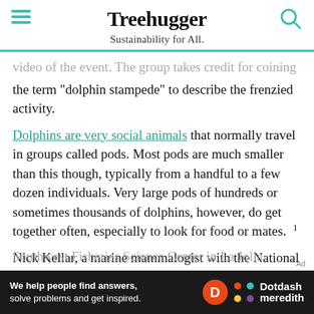Treehugger — Sustainability for All.
video of the event. The group takes credit for coining the term “dolphin stampede” to describe the frenzied activity.
Dolphins are very social animals that normally travel in groups called pods. Most pods are much smaller than this though, typically from a handful to a few dozen individuals. Very large pods of hundreds or sometimes thousands of dolphins, however, do get together often, especially to look for food or mates. 1
Nick Kellar, a marine mammalogist with the National Oceanic and Atmospheric Administration (NOAA) Southwest Fisheries Science Center in La Jolla
[Figure (other): Dotdash Meredith advertisement banner: 'We help people find answers, solve problems and get inspired.']